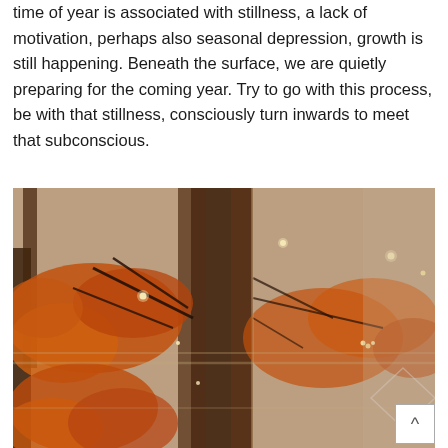time of year is associated with stillness, a lack of motivation, perhaps also seasonal depression, growth is still happening. Beneath the surface, we are quietly preparing for the coming year. Try to go with this process, be with that stillness, consciously turn inwards to meet that subconscious.
[Figure (photo): An artistic double-exposure photograph of autumn trees with orange-brown leaves against bare winter branches. The image shows a creative composite of fall foliage with twinkling lights overlaid on a structural/architectural background.]